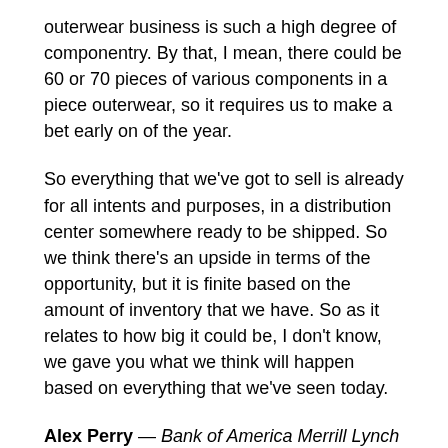outerwear business is such a high degree of componentry. By that, I mean, there could be 60 or 70 pieces of various components in a piece outerwear, so it requires us to make a bet early on of the year.
So everything that we've got to sell is already for all intents and purposes, in a distribution center somewhere ready to be shipped. So we think there's an upside in terms of the opportunity, but it is finite based on the amount of inventory that we have. So as it relates to how big it could be, I don't know, we gave you what we think will happen based on everything that we've seen today.
Alex Perry — Bank of America Merrill Lynch — Analyst
Gotcha. And then just final one. Could you comment on sort of how you're thinking about how the promotional